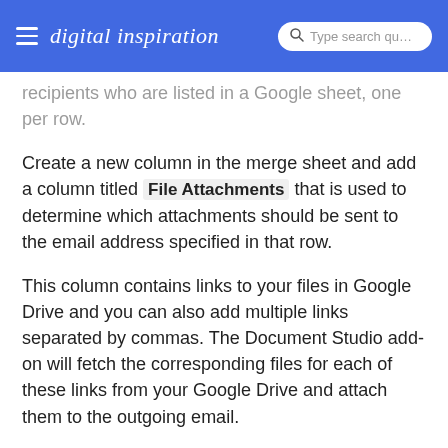digital inspiration | Type search query
recipients who are listed in a Google sheet, one per row.
Create a new column in the merge sheet and add a column titled File Attachments that is used to determine which attachments should be sent to the email address specified in that row.
This column contains links to your files in Google Drive and you can also add multiple links separated by commas. The Document Studio add-on will fetch the corresponding files for each of these links from your Google Drive and attach them to the outgoing email.
Important Things to Know